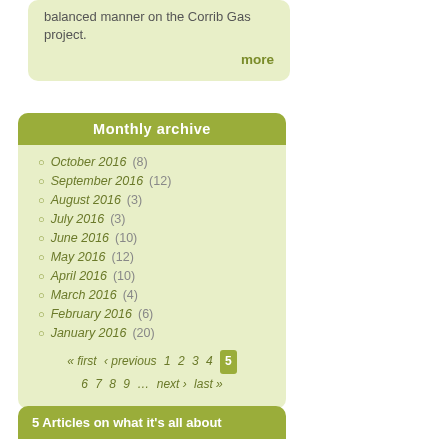balanced manner on the Corrib Gas project.
more
Monthly archive
October 2016 (8)
September 2016 (12)
August 2016 (3)
July 2016 (3)
June 2016 (10)
May 2016 (12)
April 2016 (10)
March 2016 (4)
February 2016 (6)
January 2016 (20)
« first ‹ previous 1 2 3 4 5 6 7 8 9 … next › last »
5 Articles on what it's all about